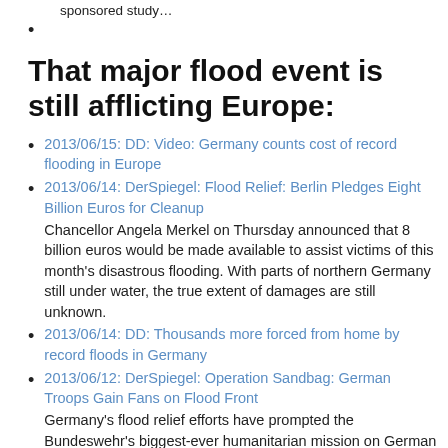sponsored study…
That major flood event is still afflicting Europe:
2013/06/15: DD: Video: Germany counts cost of record flooding in Europe
2013/06/14: DerSpiegel: Flood Relief: Berlin Pledges Eight Billion Euros for Cleanup
Chancellor Angela Merkel on Thursday announced that 8 billion euros would be made available to assist victims of this month's disastrous flooding. With parts of northern Germany still under water, the true extent of damages are still unknown.
2013/06/14: DD: Thousands more forced from home by record floods in Germany
2013/06/12: DerSpiegel: Operation Sandbag: German Troops Gain Fans on Flood Front
Germany's flood relief efforts have prompted the Bundeswehr's biggest-ever humanitarian mission on German